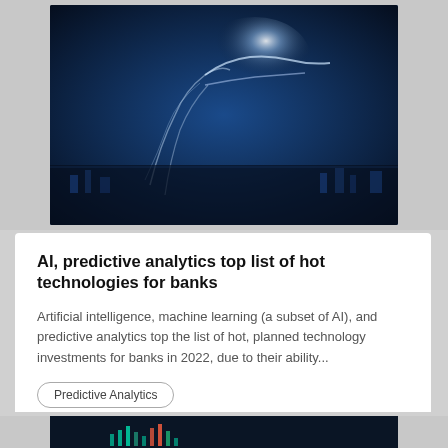[Figure (photo): Dark blue digital technology photo showing a glowing hand/finger pointing, with light burst effect, representing AI and technology]
AI, predictive analytics top list of hot technologies for banks
Artificial intelligence, machine learning (a subset of AI), and predictive analytics top the list of hot, planned technology investments for banks in 2022, due to their ability...
Predictive Analytics
06/15/2022   READ MORE
[Figure (photo): Dark digital analytics dashboard with bar charts and data visualizations in blue and orange tones]